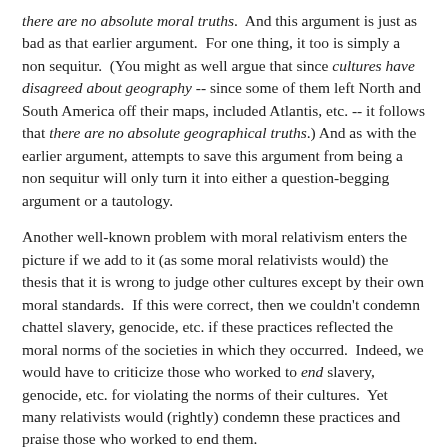there are no absolute moral truths. And this argument is just as bad as that earlier argument. For one thing, it too is simply a non sequitur. (You might as well argue that since cultures have disagreed about geography -- since some of them left North and South America off their maps, included Atlantis, etc. -- it follows that there are no absolute geographical truths.) And as with the earlier argument, attempts to save this argument from being a non sequitur will only turn it into either a question-begging argument or a tautology.
Another well-known problem with moral relativism enters the picture if we add to it (as some moral relativists would) the thesis that it is wrong to judge other cultures except by their own moral standards. If this were correct, then we couldn't condemn chattel slavery, genocide, etc. if these practices reflected the moral norms of the societies in which they occurred. Indeed, we would have to criticize those who worked to end slavery, genocide, etc. for violating the norms of their cultures. Yet many relativists would (rightly) condemn these practices and praise those who worked to end them.
The problem of inconsistency runs deeper than this, though. For consider again the thesis that it is wrong to judge other cultures except by their own moral standards. Is this thesis itself absolutely true or only relatively